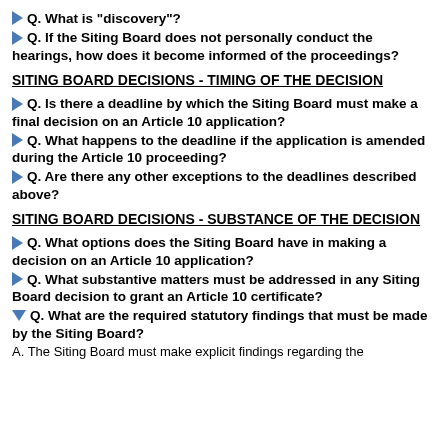Q. What is "discovery"?
Q. If the Siting Board does not personally conduct the hearings, how does it become informed of the proceedings?
SITING BOARD DECISIONS - TIMING OF THE DECISION
Q. Is there a deadline by which the Siting Board must make a final decision on an Article 10 application?
Q. What happens to the deadline if the application is amended during the Article 10 proceeding?
Q. Are there any other exceptions to the deadlines described above?
SITING BOARD DECISIONS - SUBSTANCE OF THE DECISION
Q. What options does the Siting Board have in making a decision on an Article 10 application?
Q. What substantive matters must be addressed in any Siting Board decision to grant an Article 10 certificate?
Q. What are the required statutory findings that must be made by the Siting Board?
A. The Siting Board must make explicit findings regarding the